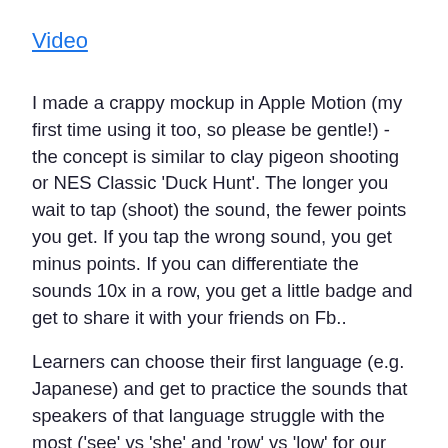Video
I made a crappy mockup in Apple Motion (my first time using it too, so please be gentle!) - the concept is similar to clay pigeon shooting or NES Classic 'Duck Hunt'. The longer you wait to tap (shoot) the sound, the fewer points you get. If you tap the wrong sound, you get minus points. If you can differentiate the sounds 10x in a row, you get a little badge and get to share it with your friends on Fb..
Learners can choose their first language (e.g. Japanese) and get to practice the sounds that speakers of that language struggle with the most ('see' vs 'she' and 'row' vs 'low' for our Japanese friends for example)
Users could unlock fancier pigeons and different